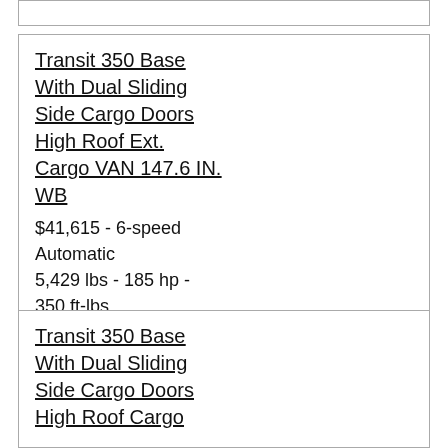(partial card top, no visible text)
Transit 350 Base With Dual Sliding Side Cargo Doors High Roof Ext. Cargo VAN 147.6 IN. WB
$41,615 - 6-speed Automatic
5,429 lbs - 185 hp - 350 ft-lbs
Transit 350 Base With Dual Sliding Side Cargo Doors High Roof Cargo VAN 147.6 IN. WB